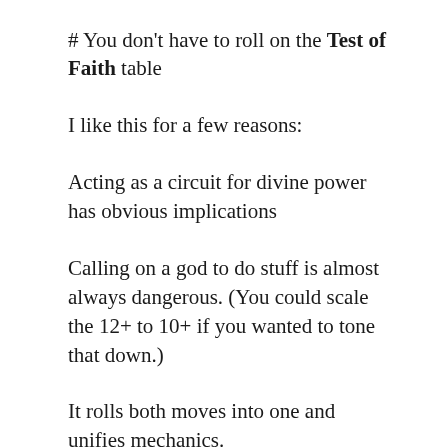# You don't have to roll on the Test of Faith table
I like this for a few reasons:
Acting as a circuit for divine power has obvious implications
Calling on a god to do stuff is almost always dangerous. (You could scale the 12+ to 10+ if you wanted to tone that down.)
It rolls both moves into one and unifies mechanics.